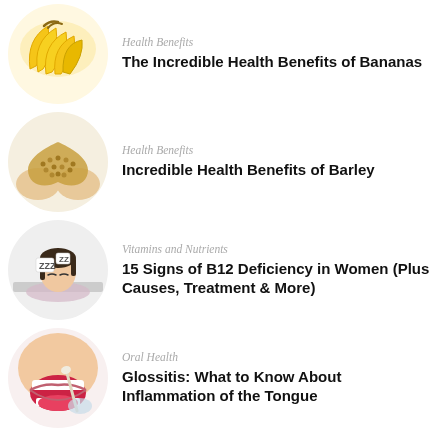[Figure (photo): Bunch of yellow bananas on white background]
Health Benefits
The Incredible Health Benefits of Bananas
[Figure (photo): Hands holding grain/barley seeds in heart shape]
Health Benefits
Incredible Health Benefits of Barley
[Figure (photo): Woman sleeping at desk with ZZ signs, indicating fatigue]
Vitamins and Nutrients
15 Signs of B12 Deficiency in Women (Plus Causes, Treatment & More)
[Figure (photo): Close-up of person opening mouth for oral examination]
Oral Health
Glossitis: What to Know About Inflammation of the Tongue